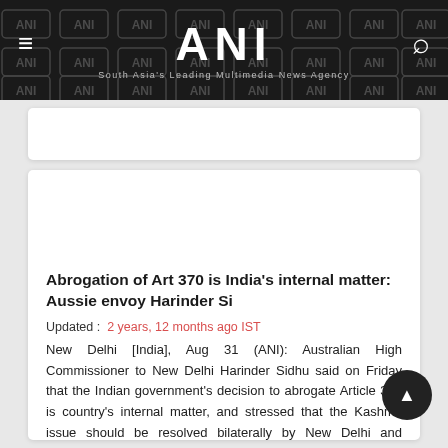ANI — South Asia's Leading Multimedia News Agency
Abrogation of Art 370 is India's internal matter: Aussie envoy Harinder Si
Updated :  2 years, 12 months ago IST
New Delhi [India], Aug 31 (ANI): Australian High Commissioner to New Delhi Harinder Sidhu said on Friday that the Indian government's decision to abrogate Article 370 is country's internal matter, and stressed that the Kashmir issue should be resolved bilaterally by New Delhi and Islamabad.
Read More